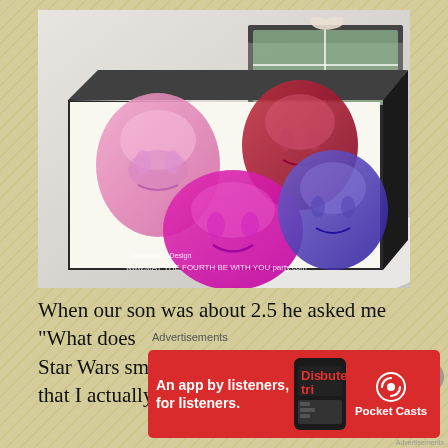[Figure (photo): A black gift box open containing four translucent soap or jelly figures shaped like Darth Vader helmet in pink, red/dark red, magenta/hot pink, and dark purple colors. Another gift box with colorful wrapping paper is partially visible in the background. Watermark text reads: * Anette Hare Design www.MAY THE FOURTH BE WITH YOU party.com]
When our son was about 2.5 he asked me "What does Star Wars smell like?". Now, it happens that I actually do
Advertisements
[Figure (screenshot): Red advertisement banner for Pocket Casts app. Text reads: An app by listeners, for listeners. Shows app icon and Pocket Casts logo with headphone icon.]